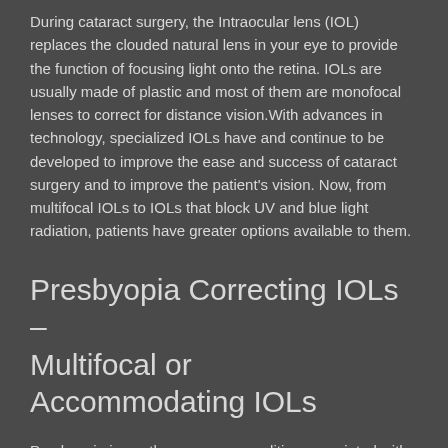During cataract surgery, the Intraocular lens (IOL) replaces the clouded natural lens in your eye to provide the function of focusing light onto the retina. IOLs are usually made of plastic and most of them are monofocal lenses to correct for distance vision.With advances in technology, specialized IOLs have and continue to be developed to improve the ease and success of cataract surgery and to improve the patient's vision. Now, from multifocal IOLs to IOLs that block UV and blue light radiation, patients have greater options available to them.
Presbyopia Correcting IOLs – Multifocal or Accommodating IOLs
Presbyopia is another common condition associated with aging, in which the eyes begin to have difficulty focusing on near objects. This condition makes it hard for people to read small print, which is why many people over 40